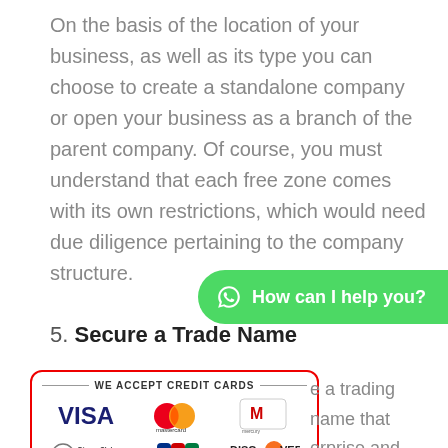On the basis of the location of your business, as well as its type you can choose to create a standalone company or open your business as a branch of the parent company. Of course, you must understand that each free zone comes with its own restrictions, which would need due diligence pertaining to the company structure.
[Figure (infographic): WhatsApp chat button with text 'How can I help you?']
5. Secure a Trade Name
[Figure (infographic): We Accept Credit Cards box with logos: VISA, Mastercard, Mercury, Diners Club International, JCB, Discover Global Network, UnionPay, American Express]
a trading name that erprise and submit the n application to the c Development).